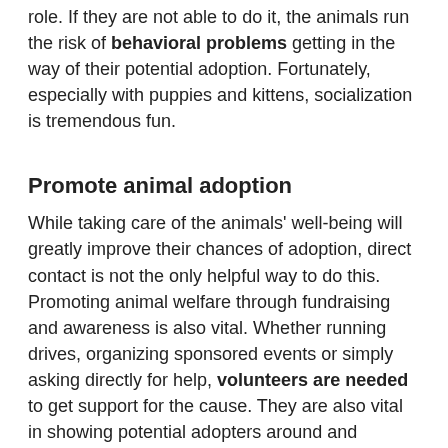role. If they are not able to do it, the animals run the risk of behavioral problems getting in the way of their potential adoption. Fortunately, especially with puppies and kittens, socialization is tremendous fun.
Promote animal adoption
While taking care of the animals' well-being will greatly improve their chances of adoption, direct contact is not the only helpful way to do this. Promoting animal welfare through fundraising and awareness is also vital. Whether running drives, organizing sponsored events or simply asking directly for help, volunteers are needed to get support for the cause. They are also vital in showing potential adopters around and introducing them to the animals. Also, vetting people for their suitability is an important part of the adoption process which can't be ignored.